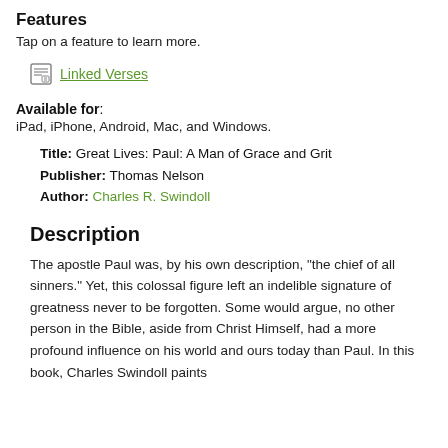Features
Tap on a feature to learn more.
Linked Verses
Available for: iPad, iPhone, Android, Mac, and Windows.
Title: Great Lives: Paul: A Man of Grace and Grit
Publisher: Thomas Nelson
Author: Charles R. Swindoll
Description
The apostle Paul was, by his own description, "the chief of all sinners." Yet, this colossal figure left an indelible signature of greatness never to be forgotten. Some would argue, no other person in the Bible, aside from Christ Himself, had a more profound influence on his world and ours today than Paul. In this book, Charles Swindoll paints